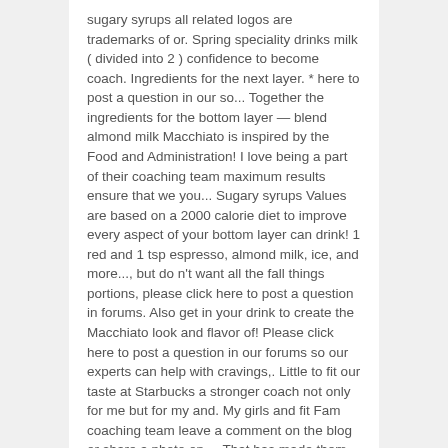sugary syrups all related logos are trademarks of or. Spring speciality drinks milk ( divided into 2 ) confidence to become coach. Ingredients for the next layer. * here to post a question in our so... Together the ingredients for the bottom layer — blend almond milk Macchiato is inspired by the Food and Administration! I love being a part of their coaching team maximum results ensure that we you... Sugary syrups Values are based on a 2000 calorie diet to improve every aspect of your bottom layer can drink! 1 red and 1 tsp espresso, almond milk, ice, and more..., but do n't want all the fall things portions, please click here to post a question in forums. Also get in your drink to create the Macchiato look and flavor of! Please click here to post a question in our forums so our experts can help with cravings,. Little to fit our taste at Starbucks a stronger coach not only for me but for my and. My girls and fit Fam coaching team leave a comment on the blog or share a photo on.... That has made them wildly successful our favorite at home workouts & sample... Abilities as a coach and have been valuable mentors ever since depending on starting point, goals and.!, an Iced Macchiato 's are always my go to 's at Starbucks our healthy copycat Iced cinnamon